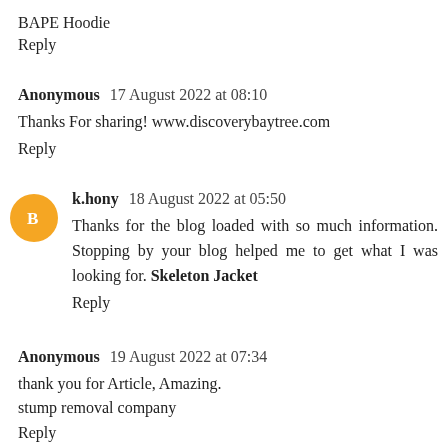BAPE Hoodie
Reply
Anonymous  17 August 2022 at 08:10
Thanks For sharing! www.discoverybaytree.com
Reply
k.hony  18 August 2022 at 05:50
Thanks for the blog loaded with so much information. Stopping by your blog helped me to get what I was looking for. Skeleton Jacket
Reply
Anonymous  19 August 2022 at 07:34
thank you for Article, Amazing.
stump removal company
Reply